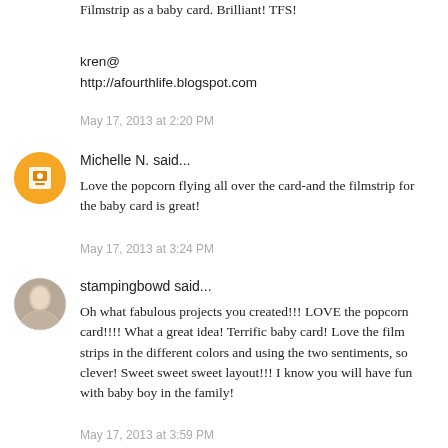Filmstrip as a baby card. Brilliant! TFS!
kren@
http://afourthlife.blogspot.com
May 17, 2013 at 2:20 PM
Michelle N. said...
Love the popcorn flying all over the card-and the filmstrip for the baby card is great!
May 17, 2013 at 3:24 PM
stampingbowd said...
Oh what fabulous projects you created!!! LOVE the popcorn card!!!! What a great idea! Terrific baby card! Love the film strips in the different colors and using the two sentiments, so clever! Sweet sweet sweet layout!!! I know you will have fun with baby boy in the family!
May 17, 2013 at 3:59 PM